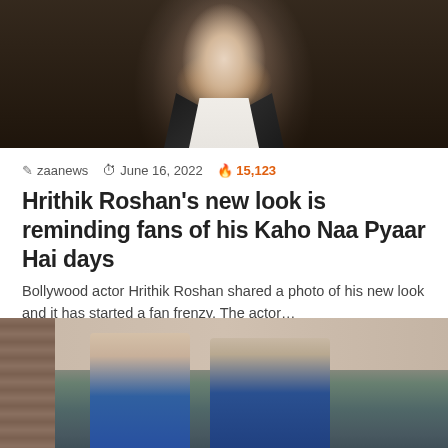[Figure (photo): Bollywood actor Hrithik Roshan in a dark blazer and white shirt, looking at camera]
zaanews  June 16, 2022  🔥 15,123
Hrithik Roshan's new look is reminding fans of his Kaho Naa Pyaar Hai days
Bollywood actor Hrithik Roshan shared a photo of his new look and it has started a fan frenzy. The actor…
Read More »
[Figure (photo): Two Bollywood actors in blue t-shirts standing side by side, smiling]